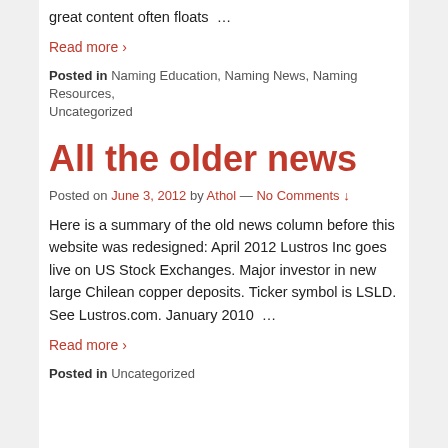great content often floats …
Read more ›
Posted in Naming Education, Naming News, Naming Resources, Uncategorized
All the older news
Posted on June 3, 2012 by Athol — No Comments ↓
Here is a summary of the old news column before this website was redesigned: April 2012 Lustros Inc goes live on US Stock Exchanges. Major investor in new large Chilean copper deposits. Ticker symbol is LSLD. See Lustros.com. January 2010 …
Read more ›
Posted in Uncategorized